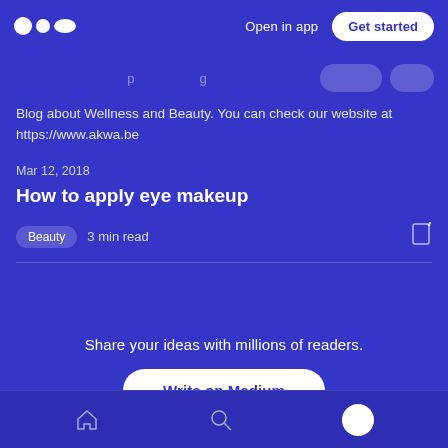Medium logo | Open in app | Get started
Blog about Wellness and Beauty. You can check our website at https://www.akwa.be
Mar 12, 2018
How to apply eye makeup
Beauty  3 min read
Share your ideas with millions of readers.
Write on Medium
Home | Search | Profile